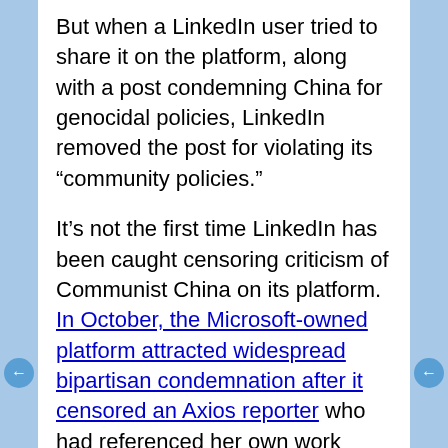But when a LinkedIn user tried to share it on the platform, along with a post condemning China for genocidal policies, LinkedIn removed the post for violating its “community policies.”
It’s not the first time LinkedIn has been caught censoring criticism of Communist China on its platform. In October, the Microsoft-owned platform attracted widespread bipartisan condemnation after it censored an Axios reporter who had referenced her own work exposing China’s internment camps in Xinjiang province on her profile.